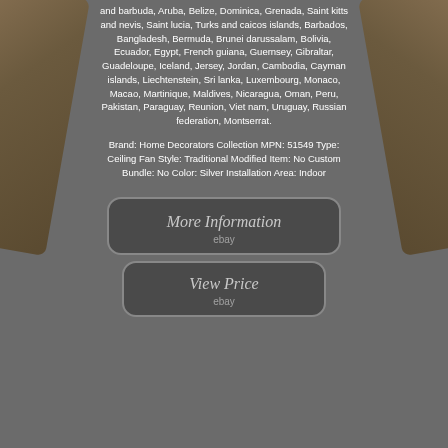and barbuda, Aruba, Belize, Dominica, Grenada, Saint kitts and nevis, Saint lucia, Turks and caicos islands, Barbados, Bangladesh, Bermuda, Brunei darussalam, Bolivia, Ecuador, Egypt, French guiana, Guernsey, Gibraltar, Guadeloupe, Iceland, Jersey, Jordan, Cambodia, Cayman islands, Liechtenstein, Sri lanka, Luxembourg, Monaco, Macao, Martinique, Maldives, Nicaragua, Oman, Peru, Pakistan, Paraguay, Reunion, Viet nam, Uruguay, Russian federation, Montserrat.
Brand: Home Decorators Collection MPN: 51549 Type: Ceiling Fan Style: Traditional Modified Item: No Custom Bundle: No Color: Silver Installation Area: Indoor
[Figure (screenshot): Button labeled 'More Information' with 'ebay' text below, dark rounded rectangle button]
[Figure (screenshot): Button labeled 'View Price' with 'ebay' text below, dark rounded rectangle button]